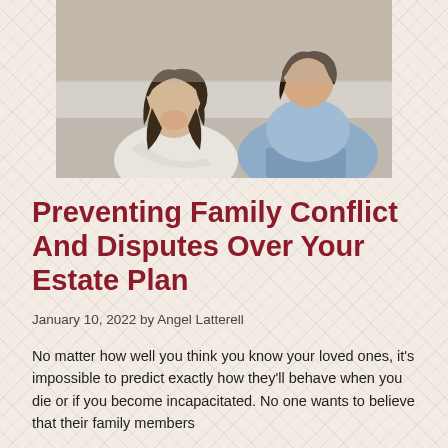[Figure (photo): Two women sitting on a couch, one with dark hair leaning forward holding her head in her hands in distress, the other in a blue outfit seated behind her.]
Preventing Family Conflict And Disputes Over Your Estate Plan
January 10, 2022 by Angel Latterell
No matter how well you think you know your loved ones, it's impossible to predict exactly how they'll behave when you die or if you become incapacitated. No one wants to believe that their family members